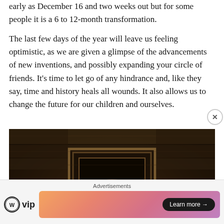early as December 16 and two weeks out but for some people it is a 6 to 12-month transformation.
The last few days of the year will leave us feeling optimistic, as we are given a glimpse of the advancements of new inventions, and possibly expanding your circle of friends. It's time to let go of any hindrance and, like they say, time and history heals all wounds. It also allows us to change the future for our children and ourselves.
[Figure (photo): Dark, rustic stone or brick interior scene with what appears to be an old fireplace or doorway with ornate frame, dimly lit in warm brown tones.]
Advertisements
[Figure (logo): WordPress VIP logo — WordPress circle icon followed by 'vip' text]
[Figure (screenshot): Advertisement banner with gradient background (orange to pink/purple) containing a 'Learn more →' button in dark pill shape]